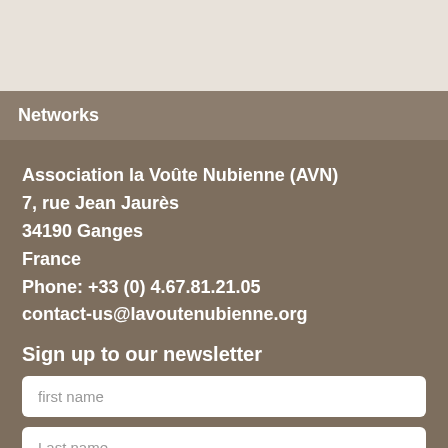Networks
Association la Voûte Nubienne (AVN)
7, rue Jean Jaurès
34190 Ganges
France
Phone: +33 (0) 4.67.81.21.05
contact-us@lavoutenubienne.org
Sign up to our newsletter
first name
Last name
Email address